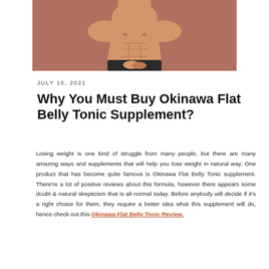[Figure (photo): A shirtless athletic man with visible abs against a brownish-red background, cropped at the torso.]
JULY 16, 2021
Why You Must Buy Okinawa Flat Belly Tonic Supplement?
Losing weight is one kind of struggle from many people, but there are many amazing ways and supplements that will help you lose weight in natural way. One product that has become quite famous is Okinawa Flat Belly Tonic supplement. There're a lot of positive reviews about this formula, however there appears some doubt & natural skepticism that is all normal today. Before anybody will decide if it's a right choice for them, they require a better idea what this supplement will do, hence check out this Okinawa Flat Belly Tonic Review.